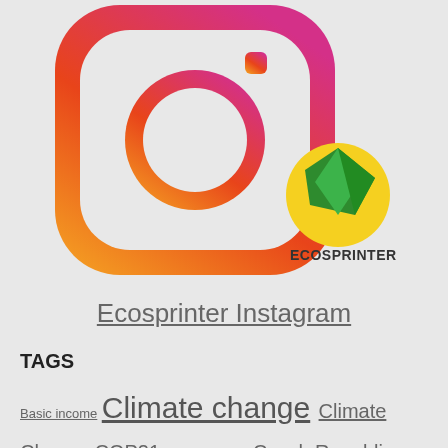[Figure (logo): Instagram logo icon with gradient orange/red colors, with Ecosprinter logo badge (green diamond shape on yellow circle) overlaid in the bottom right]
Ecosprinter Instagram
TAGS
Basic income Climate change Climate Change COP21 culture Cyprus Czech Republic DWARS EGP elections Energy Environment European elections European Elections 2004 European Union feminism food forest France FYEG Gender and LGBTQ Germany Greece Green politics Grüne Jugend Human rights